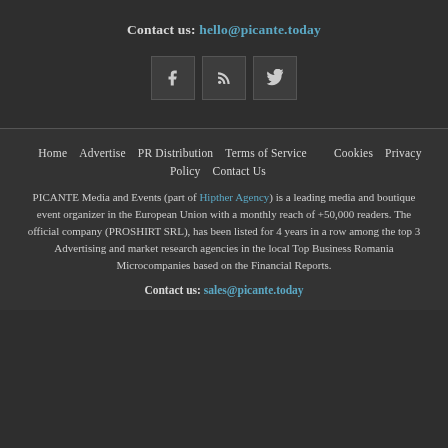Contact us: hello@picante.today
[Figure (illustration): Three social media icon buttons: Facebook (f), RSS feed, and Twitter (bird icon), in dark square boxes.]
Home   Advertise   PR Distribution   Terms of Service
Cookies   Privacy Policy   Contact Us
PICANTE Media and Events (part of Hipther Agency) is a leading media and boutique event organizer in the European Union with a monthly reach of +50,000 readers. The official company (PROSHIRT SRL), has been listed for 4 years in a row among the top 3 Advertising and market research agencies in the local Top Business Romania Microcompanies based on the Financial Reports.
Contact us: sales@picante.today